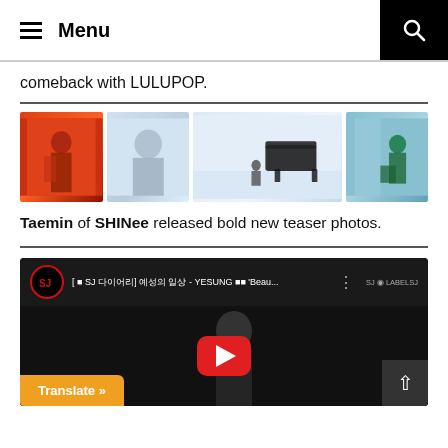Menu
comeback with LULUPOP.
[Figure (photo): Four teaser photos: 1) person in red/orange setting, 2) person in snowy/winter scene, 3) grand piano in snowy landscape, 4) person in teal/ice setting]
Taemin of SHINee released bold new teaser photos.
[Figure (screenshot): YouTube video thumbnail showing Super Junior YESUNG 'Beau...' video with SJ logo, video title in Korean and English, play button, and Translate button overlay]